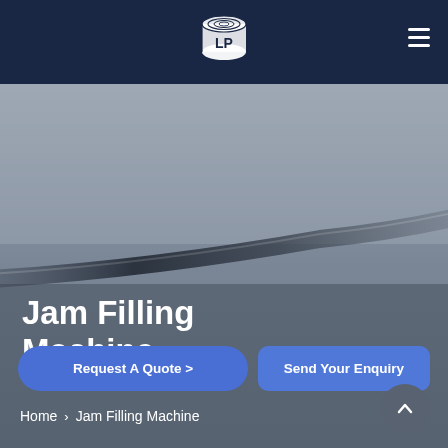[Figure (logo): LP brand logo — cylindrical roll shape with LP letters, white on dark navy background]
[Figure (photo): Hero background showing an industrial filling machine needle/nozzle against a grey blurred background]
Jam Filling Machine
Request A Quote >
Send Your Enquiry
Home > Jam Filling Machine